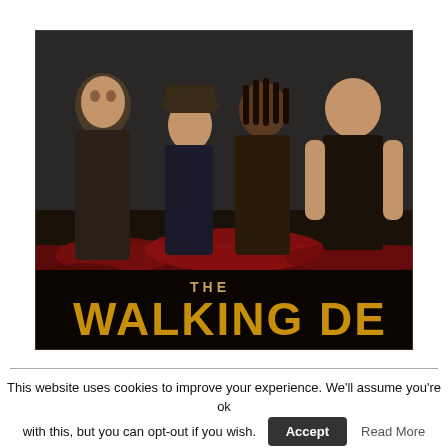[Figure (photo): Promotional poster for 'The Walking Dead' TV show featuring four main characters (Rick, Carl, Michonne, Daryl) in dark, gritty style against a dark background, with the show title 'THE WALKING DEAD' in large gold/orange letters on a red and black splattered background at the bottom. The rightmost part of the word 'DEAD' is slightly cut off showing 'DE'.]
This website uses cookies to improve your experience. We'll assume you're ok with this, but you can opt-out if you wish.  Accept  Read More